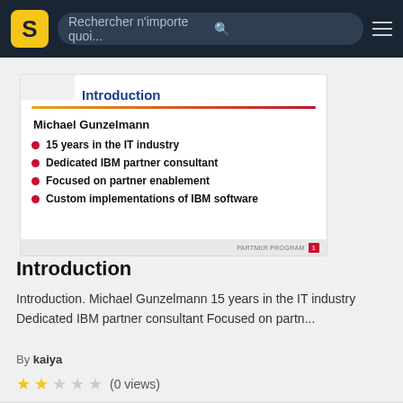Rechercher n'importe quoi...
[Figure (screenshot): Slide preview showing Introduction slide with Michael Gunzelmann bio and bullet points]
Introduction
Introduction. Michael Gunzelmann 15 years in the IT industry Dedicated IBM partner consultant Focused on partn...
By kaiya
(0 views)